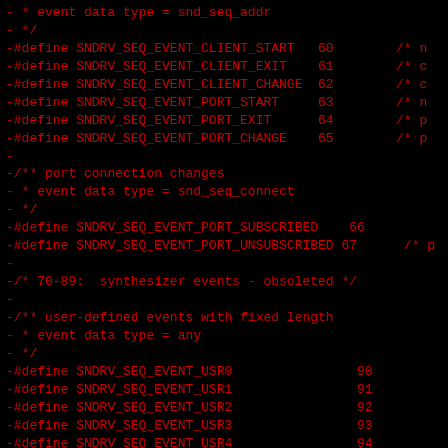- * system client messages (structure for client info)
- * event data type = snd_seq_addr
- */
-#define SNDRV_SEQ_EVENT_CLIENT_START   60        /* n
-#define SNDRV_SEQ_EVENT_CLIENT_EXIT    61        /* c
-#define SNDRV_SEQ_EVENT_CLIENT_CHANGE  62        /* c
-#define SNDRV_SEQ_EVENT_PORT_START     63        /* n
-#define SNDRV_SEQ_EVENT_PORT_EXIT      64        /* p
-#define SNDRV_SEQ_EVENT_PORT_CHANGE    65        /* p
-
-/** port connection changes
- * event data type = snd_seq_connect
- */
-#define SNDRV_SEQ_EVENT_PORT_SUBSCRIBED    66
-#define SNDRV_SEQ_EVENT_PORT_UNSUBSCRIBED 67      /* p
-
-/* 70-89:  synthesizer events - obsoleted */
-
-/** user-defined events with fixed length
- * event data type = any
- */
-#define SNDRV_SEQ_EVENT_USR0                90
-#define SNDRV_SEQ_EVENT_USR1                91
-#define SNDRV_SEQ_EVENT_USR2                92
-#define SNDRV_SEQ_EVENT_USR3                93
-#define SNDRV_SEQ_EVENT_USR4                94
-#define SNDRV_SEQ_EVENT_USR5                95
-#define SNDRV_SEQ_EVENT_USR6                96
-#define SNDRV_SEQ_EVENT_USR7                97
-#define SNDRV_SEQ_EVENT_USR8                98
-#define SNDRV_SEQ_EVENT_USR9                99